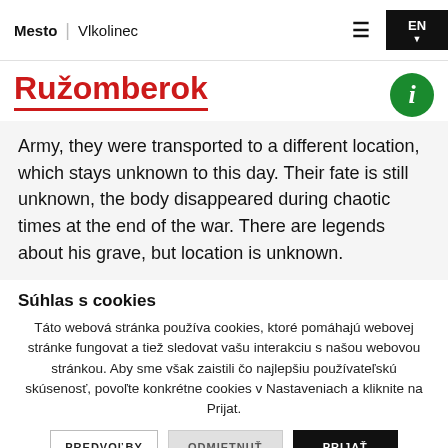Mesto | Vlkolinec
Ružomberok
Army, they were transported to a different location, which stays unknown to this day. Their fate is still unknown, the body disappeared during chaotic times at the end of the war. There are legends about his grave, but location is unknown.
Súhlas s cookies
Táto webová stránka používa cookies, ktoré pomáhajú webovej stránke fungovat a tiež sledovat vašu interakciu s našou webovou stránkou. Aby sme však zaistili čo najlepšiu používateľskú skúsenosť, povoľte konkrétne cookies v Nastaveniach a kliknite na Prijat.
PREDVOĽBY | ODMIETNUŤ | PRIJAŤ